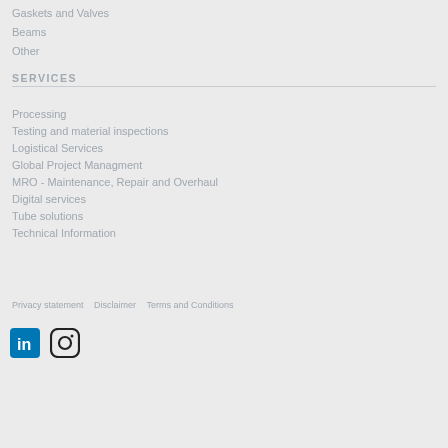Gaskets and Valves
Beams
Other
SERVICES
Processing
Testing and material inspections
Logistical Services
Global Project Managment
MRO - Maintenance, Repair and Overhaul
Digital services
Tube solutions
Technical Information
Privacy statement   Disclaimer   Terms and Conditions
[Figure (logo): LinkedIn and Instagram social media icons]